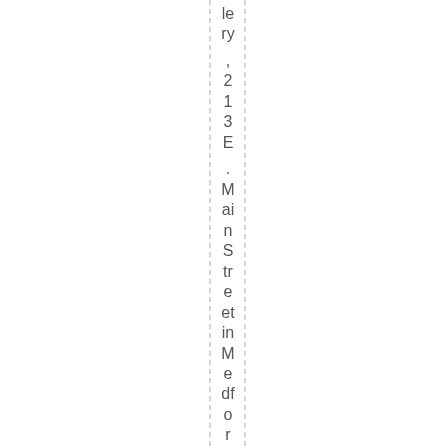le ry , 2 1 3 E . M ai n S tr e et in M e df o r d w ill b